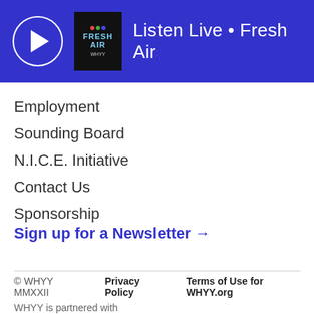Listen Live • Fresh Air
Employment
Sounding Board
N.I.C.E. Initiative
Contact Us
Sponsorship
Directions
FCC Public Files
[Figure (logo): YouTube play button circle icon]
Sign up for a Newsletter →
© WHYY MMXXII   Privacy Policy   Terms of Use for WHYY.org   WHYY is partnered with